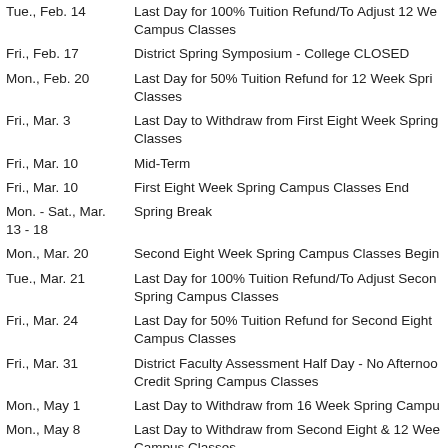Tue., Feb. 14 — Last Day for 100% Tuition Refund/To Adjust 12 Week Campus Classes
Fri., Feb. 17 — District Spring Symposium - College CLOSED
Mon., Feb. 20 — Last Day for 50% Tuition Refund for 12 Week Spring Classes
Fri., Mar. 3 — Last Day to Withdraw from First Eight Week Spring Classes
Fri., Mar. 10 — Mid-Term
Fri., Mar. 10 — First Eight Week Spring Campus Classes End
Mon. - Sat., Mar. 13 - 18 — Spring Break
Mon., Mar. 20 — Second Eight Week Spring Campus Classes Begin
Tue., Mar. 21 — Last Day for 100% Tuition Refund/To Adjust Second Spring Campus Classes
Fri., Mar. 24 — Last Day for 50% Tuition Refund for Second Eight Campus Classes
Fri., Mar. 31 — District Faculty Assessment Half Day - No Afternoon Credit Spring Campus Classes
Mon., May 1 — Last Day to Withdraw from 16 Week Spring Campus
Mon., May 8 — Last Day to Withdraw from Second Eight & 12 Week Campus Classes
Fri., May 12 — Commencement-Campus & Time TBD
Sat., May 13 — Commencement-Campuses & Time TBD
Mon., May 15 — Spring Term Ends